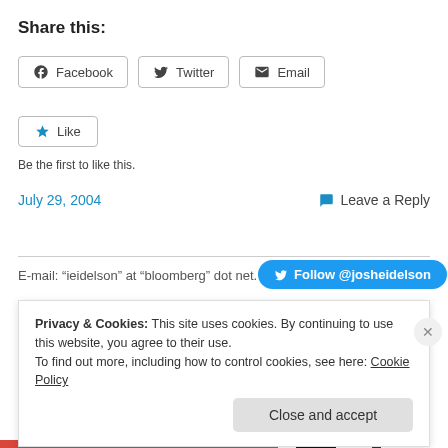Share this:
Facebook   Twitter   Email
Like
Be the first to like this.
July 29, 2004
Leave a Reply
E-mail: “ieidelson” at “bloomberg” dot net.
Follow @josheidelson
Privacy & Cookies: This site uses cookies. By continuing to use this website, you agree to their use.
To find out more, including how to control cookies, see here: Cookie Policy
Close and accept